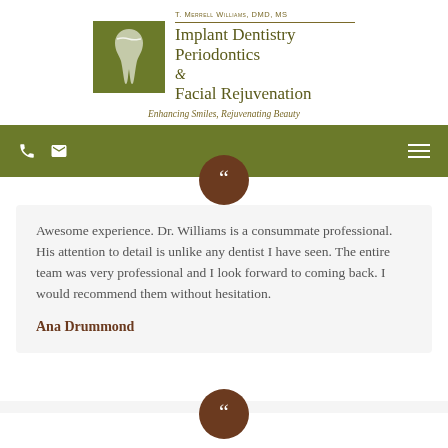[Figure (logo): Green square logo with stylized tooth/root design, beside practice name: T. Merrell Williams, DMD, MS / Implant Dentistry / Periodontics & Facial Rejuvenation]
Enhancing Smiles, Rejuvenating Beauty
[Figure (other): Olive green navigation bar with phone icon, email icon on left and hamburger menu icon on right]
Awesome experience. Dr. Williams is a consummate professional. His attention to detail is unlike any dentist I have seen. The entire team was very professional and I look forward to coming back. I would recommend them without hesitation.
Ana Drummond